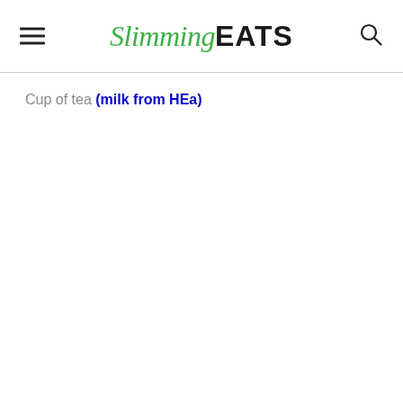Slimming EATS
Cup of tea (milk from HEa)